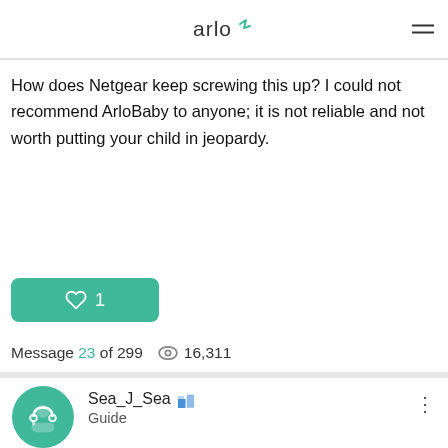arlo
How does Netgear keep screwing this up? I could not recommend ArloBaby to anyone; it is not reliable and not worth putting your child in jeopardy.
♡ 1
Message 23 of 299 👁 16,311
Sea_J_Sea [badge icon] Guide